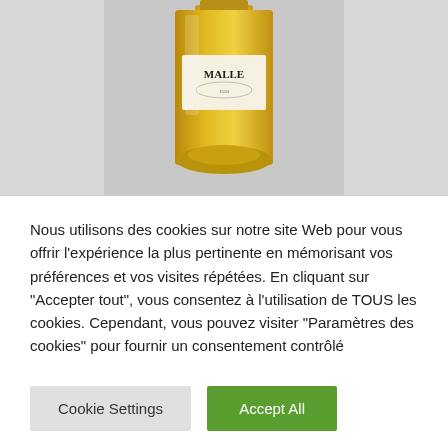[Figure (photo): A wine bottle with a label reading 'MALLE', filled with golden-amber colored wine, photographed against a light grey background.]
Nous utilisons des cookies sur notre site Web pour vous offrir l'expérience la plus pertinente en mémorisant vos préférences et vos visites répétées. En cliquant sur "Accepter tout", vous consentez à l'utilisation de TOUS les cookies. Cependant, vous pouvez visiter "Paramètres des cookies" pour fournir un consentement contrôlé
Cookie Settings
Accept All